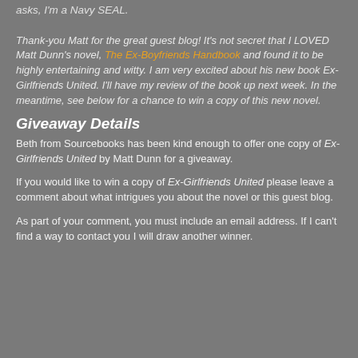asks, I'm a Navy SEAL.
Thank-you Matt for the great guest blog! It's not secret that I LOVED Matt Dunn's novel, The Ex-Boyfriends Handbook and found it to be highly entertaining and witty. I am very excited about his new book Ex-Girlfriends United. I'll have my review of the book up next week. In the meantime, see below for a chance to win a copy of this new novel.
Giveaway Details
Beth from Sourcebooks has been kind enough to offer one copy of Ex-Girlfriends United by Matt Dunn for a giveaway.
If you would like to win a copy of Ex-Girlfriends United please leave a comment about what intrigues you about the novel or this guest blog.
As part of your comment, you must include an email address. If I can't find a way to contact you I will draw another winner.